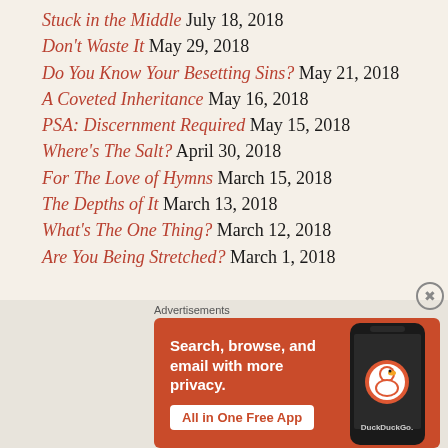Stuck in the Middle July 18, 2018
Don't Waste It May 29, 2018
Do You Know Your Besetting Sins? May 21, 2018
A Coveted Inheritance May 16, 2018
PSA: Discernment Required May 15, 2018
Where's The Salt? April 30, 2018
For The Love of Hymns March 15, 2018
The Depths of It March 13, 2018
What's The One Thing? March 12, 2018
Are You Being Stretched? March 1, 2018
[Figure (screenshot): DuckDuckGo advertisement banner: orange background with phone image, text 'Search, browse, and email with more privacy. All in One Free App', DuckDuckGo logo]